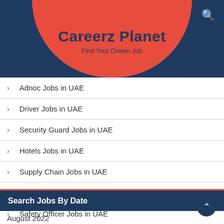Careerz Planet
Find Your Dream Job
Adnoc Jobs in UAE
Driver Jobs in UAE
Security Guard Jobs in UAE
Hotels Jobs in UAE
Supply Chain Jobs in UAE
Procurement Jobs in UAE
Safety Officer Jobs in UAE
Search Jobs By Date
August 2022